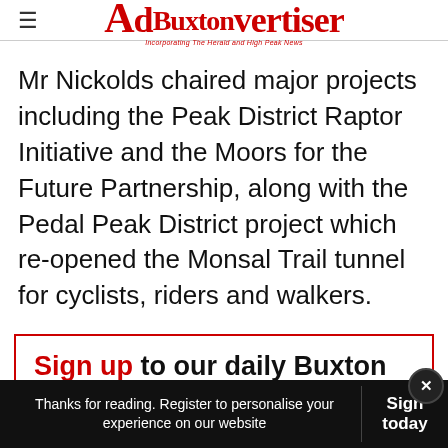≡  Buxton Advertiser — Incorporating The Herald and High Peak News
Mr Nickolds chaired major projects including the Peak District Raptor Initiative and the Moors for the Future Partnership, along with the Pedal Peak District project which re-opened the Monsal Trail tunnel for cyclists, riders and walkers.
Sign up to our daily Buxton Advertiser Today newsletter
Thanks for reading. Register to personalise your experience on our website  Sign today